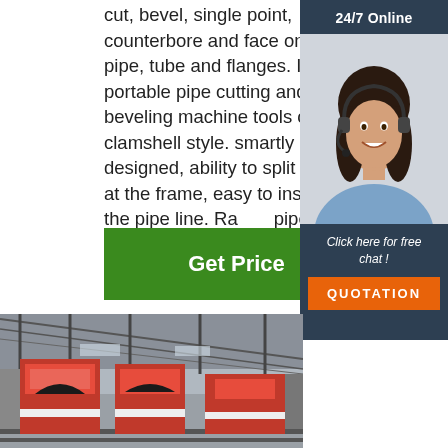cut, bevel, single point, counterbore and face on the pipe, tube and flanges. It is a portable pipe cutting and beveling machine tools of clamshell style. smartly designed, ability to split in half at the frame, easy to install on the pipe line. Ra pipe OD 1'-48'. Learn More.
[Figure (other): Green 'Get Price' button]
[Figure (photo): 24/7 Online customer service representative sidebar widget with photo of woman wearing headset, 'Click here for free chat!' text, and orange QUOTATION button on dark navy background]
[Figure (photo): Factory interior showing large red industrial pipe cutting/beveling machines on rails inside a large warehouse with steel roof structure]